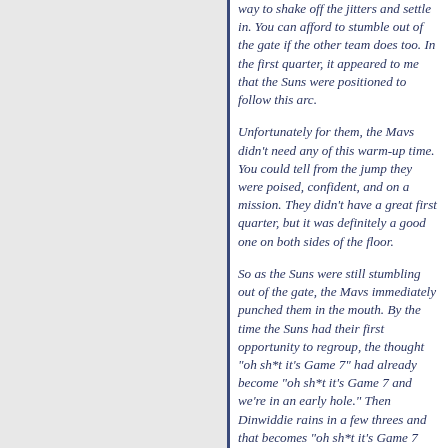way to shake off the jitters and settle in. You can afford to stumble out of the gate if the other team does too. In the first quarter, it appeared to me that the Suns were positioned to follow this arc.
Unfortunately for them, the Mavs didn't need any of this warm-up time. You could tell from the jump they were poised, confident, and on a mission. They didn't have a great first quarter, but it was definitely a good one on both sides of the floor.
So as the Suns were still stumbling out of the gate, the Mavs immediately punched them in the mouth. By the time the Suns had their first opportunity to regroup, the thought "oh sh*t it's Game 7" had already become "oh sh*t it's Game 7 and we're in an early hole." Then Dinwiddie rains in a few threes and that becomes "oh sh*t it's Game 7 and we're in a huge hole."